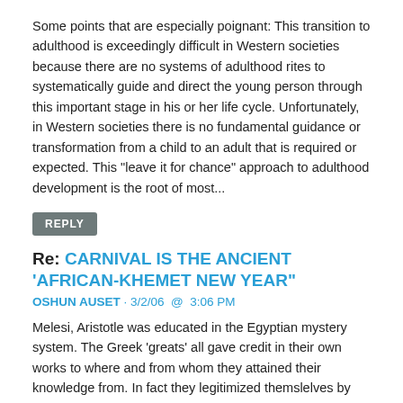Some points that are especially poignant: This transition to adulthood is exceedingly difficult in Western societies because there are no systems of adulthood rites to systematically guide and direct the young person through this important stage in his or her life cycle. Unfortunately, in Western societies there is no fundamental guidance or transformation from a child to an adult that is required or expected. This "leave it for chance" approach to adulthood development is the root of most...
REPLY
Re: CARNIVAL IS THE ANCIENT 'AFRICAN-KHEMET NEW YEAR"
OSHUN AUSET · 3/2/06  @  3:06 PM
Melesi, Aristotle was educated in the Egyptian mystery system. The Greek 'greats' all gave credit in their own works to where and from whom they attained their knowledge from. In fact they legitimized themslelves by associating themselves with the Egyptians. White supremacist re-writes/editing of history likes to leave that part out of what they teach in the mis-education system. They have to leave out the African origins to justify exploiting oppressing the very people they learned...
REPLY